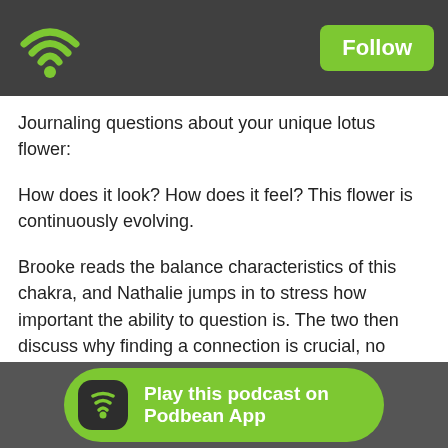[Figure (logo): Podbean app wifi/podcast logo icon in green on dark grey top bar]
Follow
Journaling questions about your unique lotus flower:
How does it look? How does it feel? This flower is continuously evolving.
Brooke reads the balance characteristics of this chakra, and Nathalie jumps in to stress how important the ability to question is. The two then discuss why finding a connection is crucial, no matter how you refer to it.
When you tap into a frequency that is so clearly tied to the seventh chakra, you can allow other people to participate in it. If you have access to this type of frequency, it is your duty to share it with others. This
Play this podcast on Podbean App